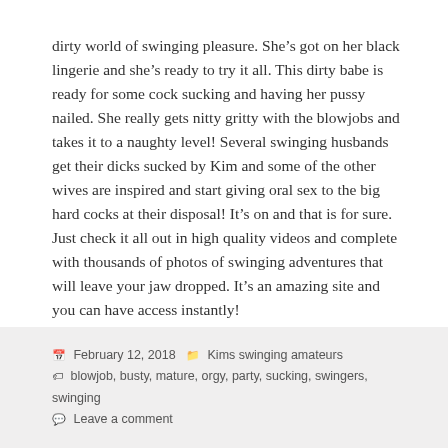dirty world of swinging pleasure. She’s got on her black lingerie and she’s ready to try it all. This dirty babe is ready for some cock sucking and having her pussy nailed. She really gets nitty gritty with the blowjobs and takes it to a naughty level! Several swinging husbands get their dicks sucked by Kim and some of the other wives are inspired and start giving oral sex to the big hard cocks at their disposal! It’s on and that is for sure.  Just check it all out in high quality videos and complete with thousands of photos of swinging adventures that will leave your jaw dropped. It’s an amazing site and you can have access instantly!
February 12, 2018  Kims swinging amateurs  blowjob, busty, mature, orgy, party, sucking, swingers, swinging  Leave a comment